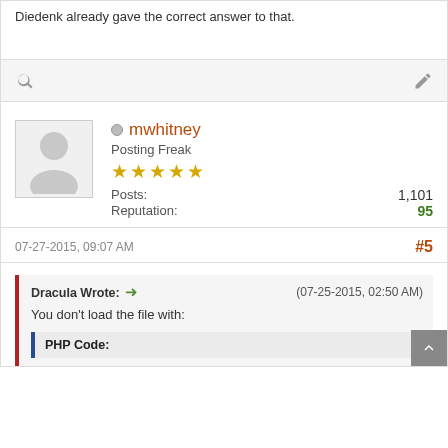Diedenk already gave the correct answer to that.
[Figure (other): Forum toolbar with search and edit icons]
[Figure (other): User avatar placeholder silhouette]
mwhitney
Posting Freak
★★★★★
Posts: 1,101
Reputation: 95
07-27-2015, 09:07 AM
#5
Dracula Wrote: → (07-25-2015, 02:50 AM)
You don't load the file with:
PHP Code: